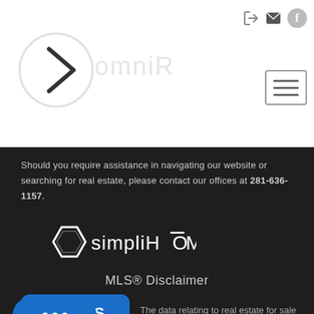[Figure (logo): Website logo with chevron/arrow shape in a circle and company name text]
[Figure (screenshot): Navigation icons: login arrow, envelope/email, Facebook circle icon]
[Figure (other): Hamburger/menu button with three horizontal lines]
Should you require assistance in navigating our website or searching for real estate, please contact our offices at 281-636-1157.
[Figure (logo): SimpliHOM logo: hexagon outline icon followed by simpliHOM text with macron over O]
MLS® Disclaimer
[Figure (logo): HAR TRACS .com logo in blue rounded rectangle]
The data relating to real estate for sale on